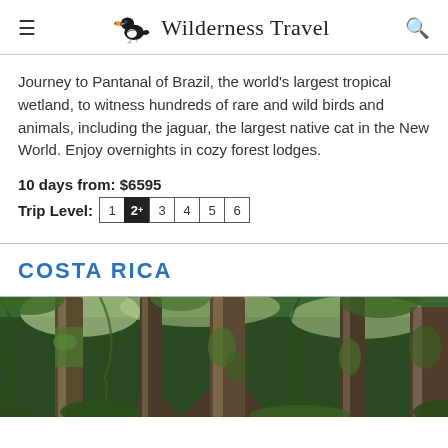Wilderness Travel
Journey to Pantanal of Brazil, the world's largest tropical wetland, to witness hundreds of rare and wild birds and animals, including the jaguar, the largest native cat in the New World. Enjoy overnights in cozy forest lodges.
10 days from: $6595
Trip Level: 1 2+ 3 4 5 6
COSTA RICA
[Figure (photo): Dense tropical forest with large tree trunks covered in moss and lush green vegetation, Costa Rica rainforest]